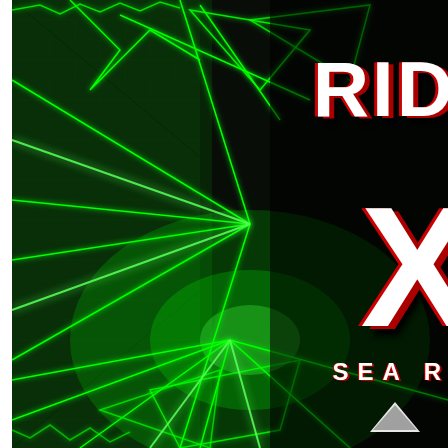[Figure (illustration): Dark corridor with green neon laser lights creating geometric patterns on brick walls, viewed in perspective. Large stylized red and white text reading 'RID' and 'X' overlaid on the right side, with 'SEAR' text at bottom and a triangle/arrow graphic. The image is cropped showing the left and center of the scene.]